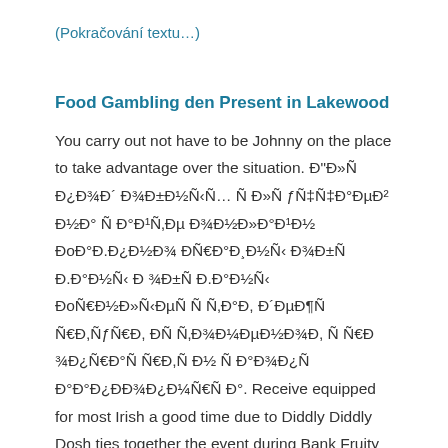(Pokračování textu…)
Food Gambling den Present in Lakewood
You carry out not have to be Johnny on the place to take advantage over the situation. Đ"Đ»Ñ Đ¿Đ¾Đ´Đ¾Đ±Đ½Ñ‹Ñ… Ñ Đ»Ñƒ Ñ‡Đ°ĐµĐ² Đ½Đ° Ñ Đ°Đ¹Ñ‚Đµ Đ¾Đ½Đ»Đ°Đ¹Đ½ ĐoĐ°Đ.Đ¿Đ½Đ¾ Đ£ĐoÑ€Đ°Đ¸Đ½Ñ‹ Đ¾Đ±Ñ Đ.Đ°Đ½Ñ‹ Đ°ÑˆÑ Đ.Đ°Đ½Ñ‹ ĐoÑ€Đ½Đ»Ñ‹Đ µ Ñ Ñ Ñ‚Đ°Đ, Đ´ĐµĐ¶Ñ Ñ€Đ,Ñ Ñ€Đ, ĐÑ Ñ‚Đ¾Đ¼ĐµĐ½Đ¾Đ, Ñ Ñ€Đ¾Đ¿Đ¿Ñ€Đ°Ñ Ñ€Đ,Ñ Đ´Đ½ Ñ Đ°Đ¾ Ñ Đ°Đ¾Đ¿Đ¿Đ¾ Ñ Đ°Đ°Đ¿ĐĐ¾Đ¿Đ¼Ñ€Ñ Đ°. Receive equipped for most Irish a good time due to Diddly Diddly Dosh ties together the event during Bank Fruity on with fantastic activities some